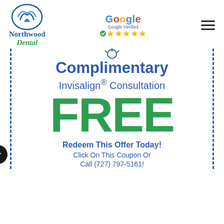[Figure (logo): Northwood Dental logo with circular blue icon and text]
[Figure (logo): Google verified 5-star rating badge]
Complimentary
Invisalign® Consultation
FREE
Redeem This Offer Today!
Click On This Coupon Or Call (727) 797-5161!